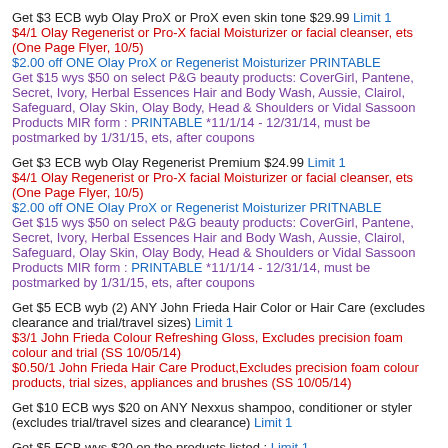Get $3 ECB wyb Olay ProX or ProX even skin tone $29.99 Limit 1
$4/1 Olay Regenerist or Pro-X facial Moisturizer or facial cleanser, ets (One Page Flyer, 10/5)
$2.00 off ONE Olay ProX or Regenerist Moisturizer PRINTABLE
Get $15 wys $50 on select P&G beauty products: CoverGirl, Pantene, Secret, Ivory, Herbal Essences Hair and Body Wash, Aussie, Clairol, Safeguard, Olay Skin, Olay Body, Head & Shoulders or Vidal Sassoon Products MIR form : PRINTABLE *11/1/14 - 12/31/14, must be postmarked by 1/31/15, ets, after coupons
Get $3 ECB wyb Olay Regenerist Premium $24.99 Limit 1
$4/1 Olay Regenerist or Pro-X facial Moisturizer or facial cleanser, ets (One Page Flyer, 10/5)
$2.00 off ONE Olay ProX or Regenerist Moisturizer PRITNABLE
Get $15 wys $50 on select P&G beauty products: CoverGirl, Pantene, Secret, Ivory, Herbal Essences Hair and Body Wash, Aussie, Clairol, Safeguard, Olay Skin, Olay Body, Head & Shoulders or Vidal Sassoon Products MIR form : PRINTABLE *11/1/14 - 12/31/14, must be postmarked by 1/31/15, ets, after coupons
Get $5 ECB wyb (2) ANY John Frieda Hair Color or Hair Care (excludes clearance and trial/travel sizes) Limit 1
$3/1 John Frieda Colour Refreshing Gloss, Excludes precision foam colour and trial (SS 10/05/14)
$0.50/1 John Frieda Hair Care Product,Excludes precision foam colour products, trial sizes, appliances and brushes (SS 10/05/14)
Get $10 ECB wys $20 on ANY Nexxus shampoo, conditioner or styler (excludes trial/travel sizes and clearance) Limit 1
Get $5 ECB wys $20 on the products listed : Limit 1
Choose from many designer fragrances with a regular retail of $9.99 and Fragrance Stocking